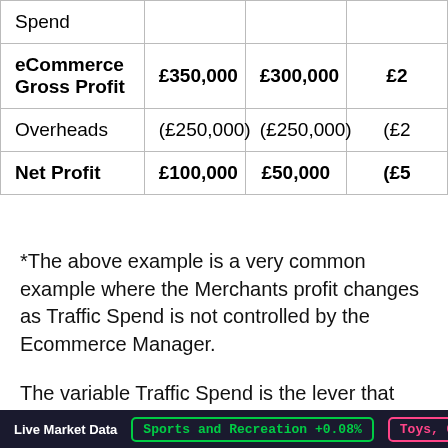|  | Col1 | Col2 | Col3 |
| --- | --- | --- | --- |
| Spend |  |  |  |
| eCommerce Gross Profit | £350,000 | £300,000 | £2… |
| Overheads | (£250,000) | (£250,000) | (£2…) |
| Net Profit | £100,000 | £50,000 | (£5…) |
*The above example is a very common example where the Merchants profit changes as Traffic Spend is not controlled by the Ecommerce Manager.
The variable Traffic Spend is the lever that impacts profitability. Spend too little and
Live Market Data   Sports and Recreation +0.08%   Toys, Games…